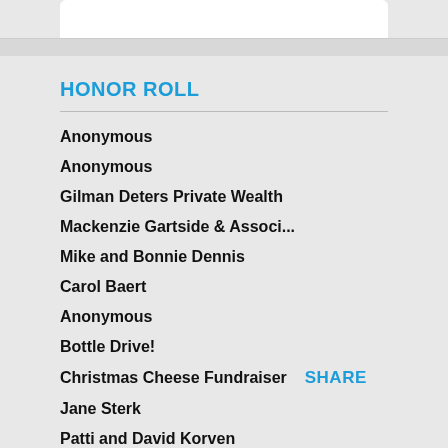HONOR ROLL
Anonymous
Anonymous
Gilman Deters Private Wealth
Mackenzie Gartside & Associ...
Mike and Bonnie Dennis
Carol Baert
Anonymous
Bottle Drive!
Christmas Cheese Fundraiser
Jane Sterk
Patti and David Korven
Angela & Brad Koskie